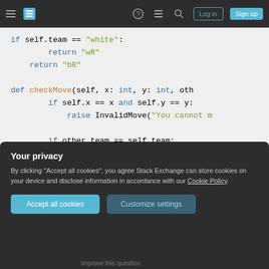Stack Exchange navigation bar with hamburger menu, logo, help, chat, search icons, Log in and Sign up buttons
[Figure (screenshot): Code block showing Python code for a chess piece class. Code includes: if self.team == "white": / return "wR" / return "bR" / def checkMove(self, x: int, y: int, oth / if self.x == x and self.y == y: / raise InvalidMove("You cannot m / if other.team == self.team: / raise InvalidMove("Rooks cannot / if self.x != x and self.y != y: / raise InvalidMove("Rooks can on]
Your privacy
By clicking "Accept all cookies", you agree Stack Exchange can store cookies on your device and disclose information in accordance with our Cookie Policy.
Accept all cookies
Customize settings
improve this question